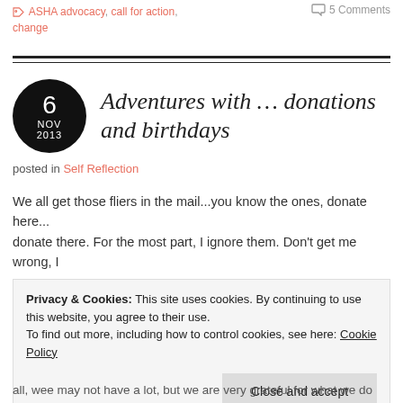ASHA advocacy, call for action, change — 5 Comments
Adventures with … donations and birthdays
posted in Self Reflection
We all get those fliers in the mail...you know the ones, donate here... donate there. For the most part, I ignore them. Don't get me wrong, I
Privacy & Cookies: This site uses cookies. By continuing to use this website, you agree to their use.
To find out more, including how to control cookies, see here: Cookie Policy
Close and accept
all, wee may not have a lot, but we are very grateful for what we do